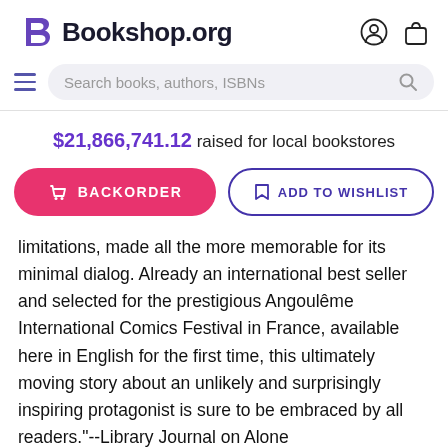[Figure (logo): Bookshop.org logo with stylized B and wordmark, plus user account and shopping bag icons]
[Figure (screenshot): Search bar with hamburger menu icon, placeholder text 'Search books, authors, ISBNs' and magnifying glass icon]
$21,866,741.12 raised for local bookstores
[Figure (screenshot): BACKORDER button (pink/red) and ADD TO WISHLIST button (white with purple border)]
limitations, made all the more memorable for its minimal dialog. Already an international best seller and selected for the prestigious Angoulême International Comics Festival in France, available here in English for the first time, this ultimately moving story about an unlikely and surprisingly inspiring protagonist is sure to be embraced by all readers."--Library Journal on Alone